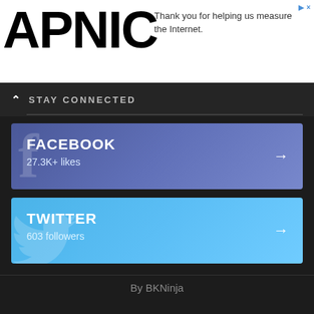[Figure (logo): APNIC logo in bold black text]
Thank you for helping us measure the Internet.
STAY CONNECTED
FACEBOOK
27.3K+ likes
TWITTER
603 followers
By BKNinja